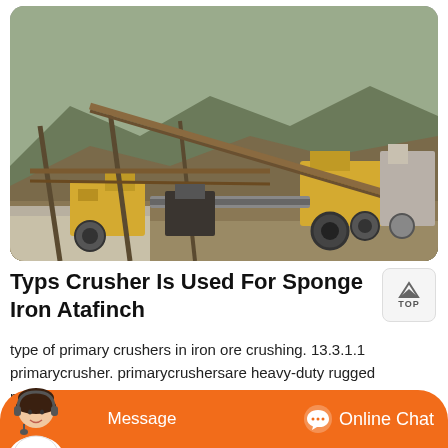[Figure (photo): Outdoor mining/crushing plant site with yellow heavy machinery, conveyor belts, structural steel frames, and mountainous forested background. Industrial stone crushing equipment visible.]
Typs Crusher Is Used For Sponge Iron Atafinch
type of primary crushers in iron ore crushing. 13.3.1.1 primarycrusher. primarycrushersare heavy-duty rugged machinesusedto crush rom ore of 1.5 size. these large-sized ores are reduced at the primary crushing stage for an output product dimension of 1020 cm. the common primarycrushersare of jaw and gratorytypes. primary crushing ofiropre. primary crushing